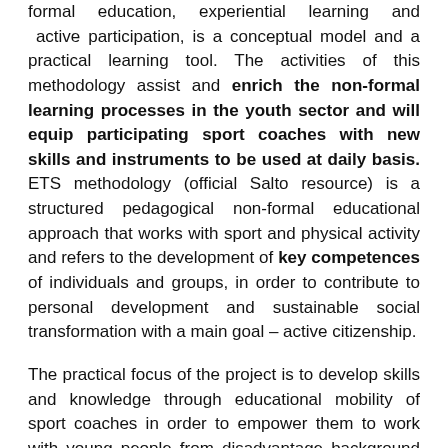formal education, experiential learning and active participation, is a conceptual model and a practical learning tool. The activities of this methodology assist and enrich the non-formal learning processes in the youth sector and will equip participating sport coaches with new skills and instruments to be used at daily basis. ETS methodology (official Salto resource) is a structured pedagogical non-formal educational approach that works with sport and physical activity and refers to the development of key competences of individuals and groups, in order to contribute to personal development and sustainable social transformation with a main goal – active citizenship.
The practical focus of the project is to develop skills and knowledge through educational mobility of sport coaches in order to empower them to work with young people from disadvantage background and at risk of radicalization.